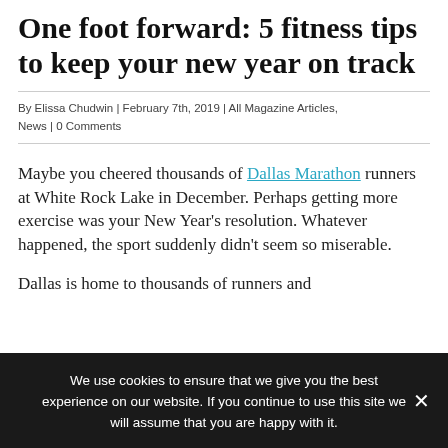One foot forward: 5 fitness tips to keep your new year on track
By Elissa Chudwin | February 7th, 2019 | All Magazine Articles, News | 0 Comments
Maybe you cheered thousands of Dallas Marathon runners at White Rock Lake in December. Perhaps getting more exercise was your New Year’s resolution. Whatever happened, the sport suddenly didn’t seem so miserable.
Dallas is home to thousands of runners and
We use cookies to ensure that we give you the best experience on our website. If you continue to use this site we will assume that you are happy with it.